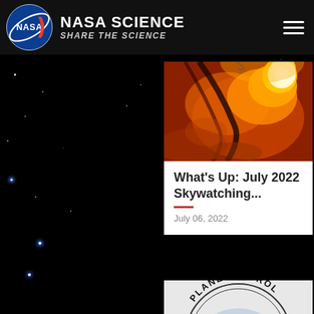NASA SCIENCE — SHARE THE SCIENCE
[Figure (photo): Close-up image of the Sun's surface showing a solar flare with orange, red and yellow plasma structures]
What's Up: July 2022 Skywatching...
July 06, 2022
[Figure (photo): Partial view of a circular logo reading PLANET PATROL]